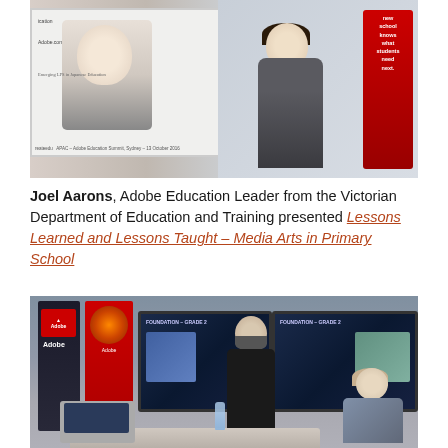[Figure (photo): A woman presenting at an Adobe Education Summit in Sydney. She stands in front of a large projection screen showing slides about 'Emerging LPS in Japanese Education'. An Adobe banner is visible on the right. Text on screen shows 'APAC – Adobe Education Summit, Sydney'. Text visible: 'ication', 'reateedu', 'APAC – Adobe Education Summit, Sydney – 13 October 2016', 'Emerging LPS in Japanese Education', 'Adobe.com'.]
Joel Aarons, Adobe Education Leader from the Victorian Department of Education and Training presented Lessons Learned and Lessons Taught – Media Arts in Primary School
[Figure (photo): A man presenting in a room set up for a conference or workshop. Adobe banners and a Creative Cloud banner are visible on the left. Two large TV screens display slides titled 'Foundation – Grade' with images. Audience members are seated at tables with laptops. A woman with blonde hair is visible on the right watching the presenter.]